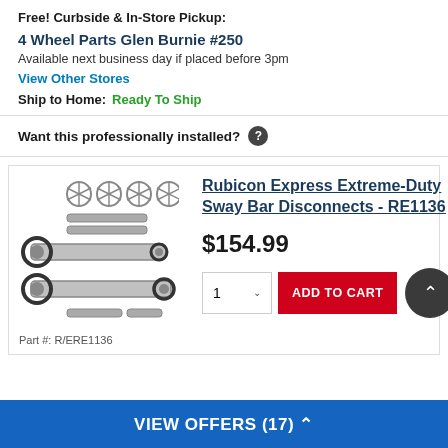Free! Curbside & In-Store Pickup:
4 Wheel Parts Glen Burnie #250
Available next business day if placed before 3pm
View Other Stores
Ship to Home:  Ready To Ship
Want this professionally installed?
[Figure (photo): Product photo of Rubicon Express sway bar disconnect hardware kit - RE1136]
Rubicon Express Extreme-Duty Sway Bar Disconnects - RE1136
$154.99
Part #: R/ERE1136
ADD TO CART
VIEW OFFERS (17)